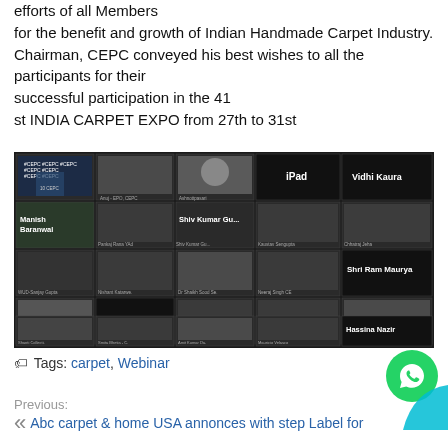efforts of all Members for the benefit and growth of Indian Handmade Carpet Industry. Chairman, CEPC conveyed his best wishes to all the participants for their successful participation in the 41 st INDIA CARPET EXPO from 27th to 31st
[Figure (screenshot): Screenshot of a video conference call with multiple participants visible in a grid layout. Labels visible include: Manish Baranwal, Shiv Kumar Gu..., iPad, Vidhi Kaura, Pankaj Rana YAd, Kaustav Sengupta, Chhatraj Jeha, WUD-Sanjay Gupta, Nishant Katarwe., Dr Shaikh Sood Se., Neeraj Singh CE, Shri Ram Maurya, Mujdita Mishra AO., Yogesh Bansal, Akhilesh Kumar., Siddh Nath Singh, Okita, Shanti Collecti., Smita Bhetia - C., Amit Kumar Da., Mauricio Velasco, Hassina Nazir, Anuj - EPO, CEPC, Ashnottpasari]
Tags: carpet, Webinar
Previous: Abc carpet & home USA annonces with step Label for